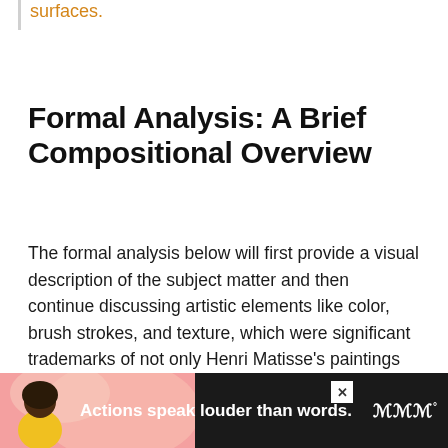surfaces.
Formal Analysis: A Brief Compositional Overview
The formal analysis below will first provide a visual description of the subject matter and then continue discussing artistic elements like color, brush strokes, and texture, which were significant trademarks of not only Henri Matisse's paintings but Fauvism as an art movement.
[Figure (other): Advertisement banner with dark background showing a person and text 'Actions speak louder than words.' with a close button and logo]